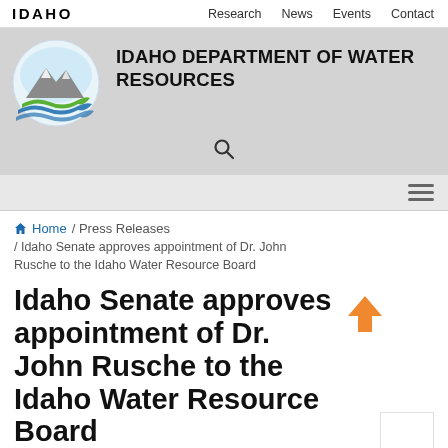IDAHO | Research | News | Events | Contact
[Figure (logo): Idaho Department of Water Resources logo — circular emblem with mountain peaks and green/blue wave swooshes]
IDAHO DEPARTMENT OF WATER RESOURCES
Search icon
Hamburger/menu icon
Home / Press Releases / Idaho Senate approves appointment of Dr. John Rusche to the Idaho Water Resource Board
Idaho Senate approves appointment of Dr. John Rusche to the Idaho Water Resource Board
Monday, March 15, 2021